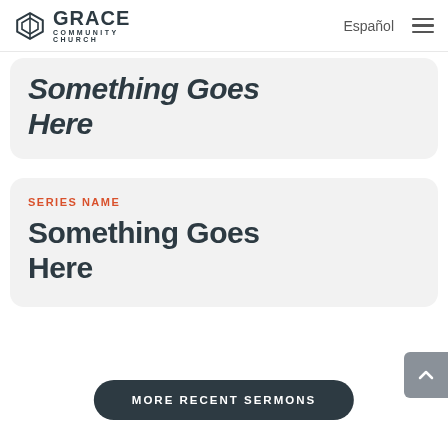GRACE COMMUNITY CHURCH | Español
Something Goes Here
SERIES NAME
Something Goes Here
MORE RECENT SERMONS